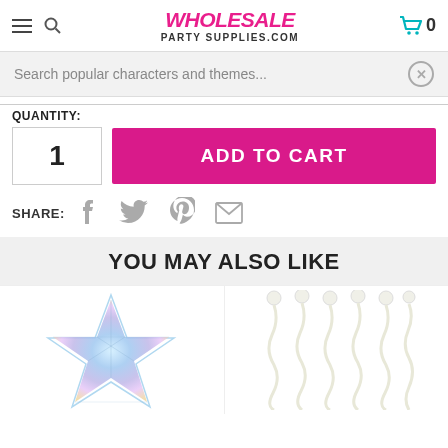[Figure (screenshot): Website header with hamburger menu, magnifier icon, WHOLESALE PARTY SUPPLIES.COM logo in magenta/italic, and teal shopping cart icon with 0]
Search popular characters and themes...
QUANTITY:
1
ADD TO CART
SHARE:
[Figure (illustration): Social share icons: Facebook, Twitter, Pinterest, Email]
YOU MAY ALSO LIKE
[Figure (photo): Two product thumbnail images: left shows an iridescent holographic star hanging decoration; right shows multiple white/iridescent curly balloon ribbons]